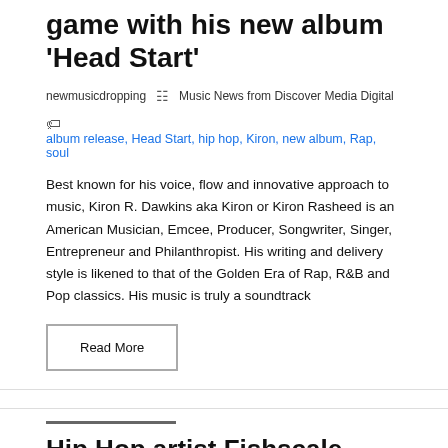game with his new album 'Head Start'
newmusicdropping   ☰ Music News from Discover Media Digital
album release, Head Start, hip hop, Kiron, new album, Rap, soul
Best known for his voice, flow and innovative approach to music, Kiron R. Dawkins aka Kiron or Kiron Rasheed is an American Musician, Emcee, Producer, Songwriter, Singer, Entrepreneur and Philanthropist. His writing and delivery style is likened to that of the Golden Era of Rap, R&B and Pop classics. His music is truly a soundtrack
Read More
Hip Hop artist Fishscale Wooly has released his new album Made In Italy